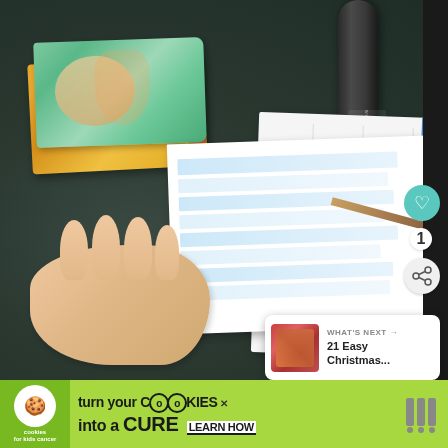[Figure (photo): Classroom desk scene showing a Wacom or document scanner device positioned over a worksheet with blue-striped lines and a planner/notebook, alongside stacked children's books with colorful covers (green and orange), a pencil, and a child's hand resting on the dark desk surface. UI overlay elements include a teal heart/like button showing '1', a share button, and a 'WHAT'S NEXT' recommendation card for '21 Easy Christmas...' with a thumbnail.]
[Figure (infographic): Advertisement banner at the bottom: Green background with 'cookies for kids cancer' logo on the left (white circle with cookie icon), large bold text reading 'turn your COOKIES into a CURE LEARN HOW' with a close X button, and Woo/brand icon on the right.]